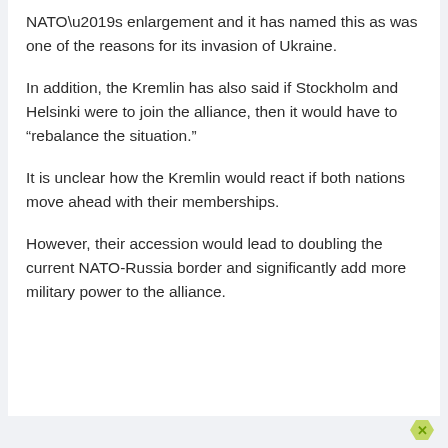NATO’s enlargement and it has named this as was one of the reasons for its invasion of Ukraine.
In addition, the Kremlin has also said if Stockholm and Helsinki were to join the alliance, then it would have to “rebalance the situation.”
It is unclear how the Kremlin would react if both nations move ahead with their memberships.
However, their accession would lead to doubling the current NATO-Russia border and significantly add more military power to the alliance.